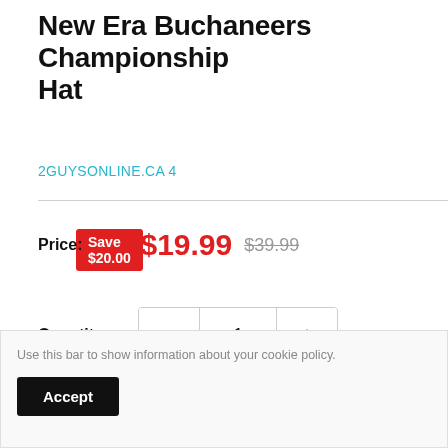New Era Buchaneers Championship Hat
Save $20.00
2GUYSONLINE.CA 4
Price: $19.99 $39.99
Quantity: 1
Add to cart
Use this bar to show information about your cookie policy.
Accept